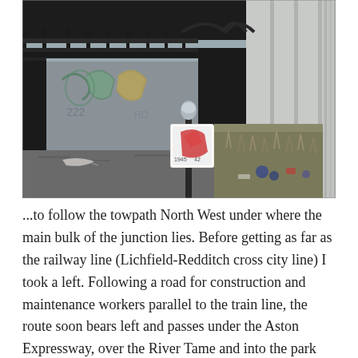[Figure (photo): Outdoor photo showing a graffiti-covered concrete wall and stairwell area beneath a railway or road structure. A metal pole with a small direction sign stands in the center. Litter is scattered on the ground to the right. Black metal railings are visible at the top.]
...to follow the towpath North West under where the main bulk of the junction lies. Before getting as far as the railway line (Lichfield-Redditch cross city line) I took a left. Following a road for construction and maintenance workers parallel to the train line, the route soon bears left and passes under the Aston Expressway, over the River Tame and into the park that contains Salford Reservoir, aka Aston Reservoir. From here a